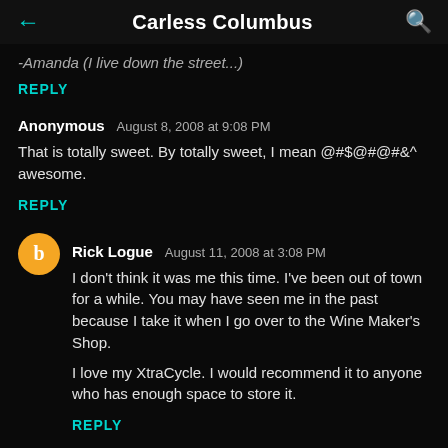Carless Columbus
-Amanda (I live down the street...)
REPLY
Anonymous  August 8, 2008 at 9:08 PM
That is totally sweet. By totally sweet, I mean @#$@#@#&^ awesome.
REPLY
Rick Logue  August 11, 2008 at 3:08 PM
I don't think it was me this time. I've been out of town for a while. You may have seen me in the past because I take it when I go over to the Wine Maker's Shop.

I love my XtraCycle. I would recommend it to anyone who has enough space to store it.
REPLY